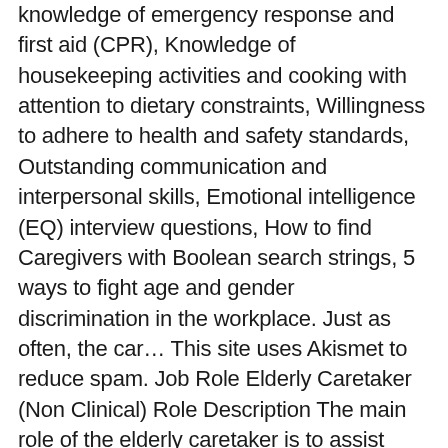knowledge of emergency response and first aid (CPR), Knowledge of housekeeping activities and cooking with attention to dietary constraints, Willingness to adhere to health and safety standards, Outstanding communication and interpersonal skills, Emotional intelligence (EQ) interview questions, How to find Caregivers with Boolean search strings, 5 ways to fight age and gender discrimination in the workplace. Just as often, the car... This site uses Akismet to reduce spam. Job Role Elderly Caretaker (Non Clinical) Role Description The main role of the elderly caretaker is to assist client in day to day activities such as ambulation, eating, dressing, toileting, grooming and in running errands. Don't let jargon stand between you and your to-do list. Driving and Errands. Our company is looking for a Caregiver for Elderly to join our team. Assist clients with ambulation and mobility around the house or outside (doctor's appointments, walks etc. Assisting clients with everyday tasks around the house.